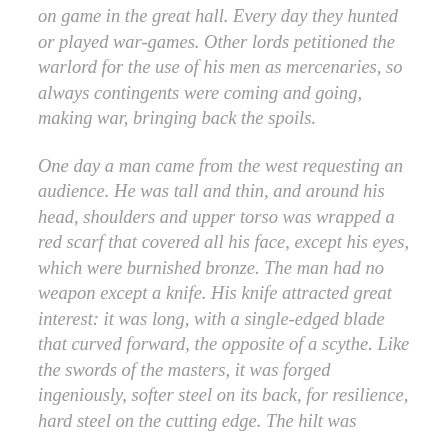on game in the great hall. Every day they hunted or played war-games. Other lords petitioned the warlord for the use of his men as mercenaries, so always contingents were coming and going, making war, bringing back the spoils.
One day a man came from the west requesting an audience. He was tall and thin, and around his head, shoulders and upper torso was wrapped a red scarf that covered all his face, except his eyes, which were burnished bronze. The man had no weapon except a knife. His knife attracted great interest: it was long, with a single-edged blade that curved forward, the opposite of a scythe. Like the swords of the masters, it was forged ingeniously, softer steel on its back, for resilience, hard steel on the cutting edge. The hilt was